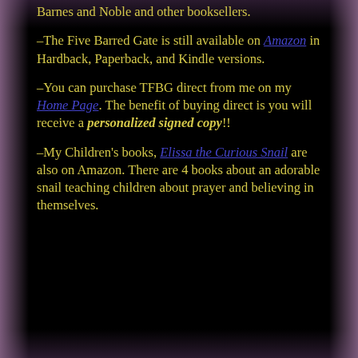Barnes and Noble and other booksellers.
–The Five Barred Gate is still available on Amazon in Hardback, Paperback, and Kindle versions.
–You can purchase TFBG direct from me on my Home Page. The benefit of buying direct is you will receive a personalized signed copy!!
–My Children's books, Elissa the Curious Snail are also on Amazon. There are 4 books about an adorable snail teaching children about prayer and believing in themselves.